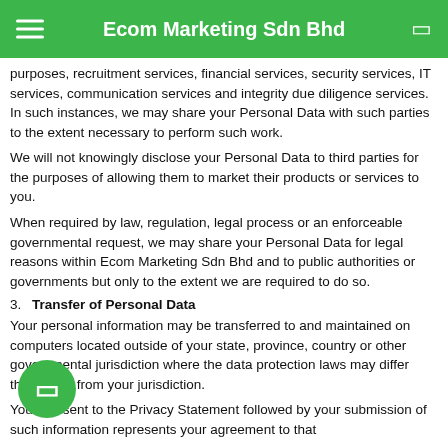Ecom Marketing Sdn Bhd
purposes, recruitment services, financial services, security services, IT services, communication services and integrity due diligence services. In such instances, we may share your Personal Data with such parties to the extent necessary to perform such work.
We will not knowingly disclose your Personal Data to third parties for the purposes of allowing them to market their products or services to you.
When required by law, regulation, legal process or an enforceable governmental request, we may share your Personal Data for legal reasons within Ecom Marketing Sdn Bhd and to public authorities or governments but only to the extent we are required to do so.
3. Transfer of Personal Data
Your personal information may be transferred to and maintained on computers located outside of your state, province, country or other governmental jurisdiction where the data protection laws may differ than those from your jurisdiction.
Your consent to the Privacy Statement followed by your submission of such information represents your agreement to that